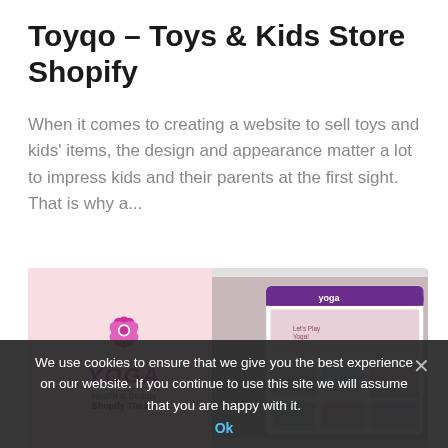Toyqo – Toys & Kids Store Shopify
When it comes to creating a website to sell toys and kids' items, the design and appearance matter a lot to impress kids and their parents at the first sight. That is why a...
[Figure (screenshot): Yoga Health & Beauty Shopify Theme promotional image showing the yoga logo on a pink background and a website screenshot on the right side]
We use cookies to ensure that we give you the best experience on our website. If you continue to use this site we will assume that you are happy with it.
SPORT THEMES  JULY 12
Yoga Health & beauty Shopify Theme